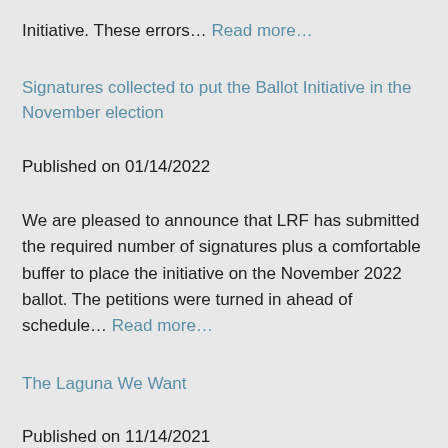Initiative. These errors… Read more…
Signatures collected to put the Ballot Initiative in the November election
Published on 01/14/2022
We are pleased to announce that LRF has submitted the required number of signatures plus a comfortable buffer to place the initiative on the November 2022 ballot. The petitions were turned in ahead of schedule… Read more…
The Laguna We Want
Published on 11/14/2021
By Michele Monda. I've been reading the columns and letters from